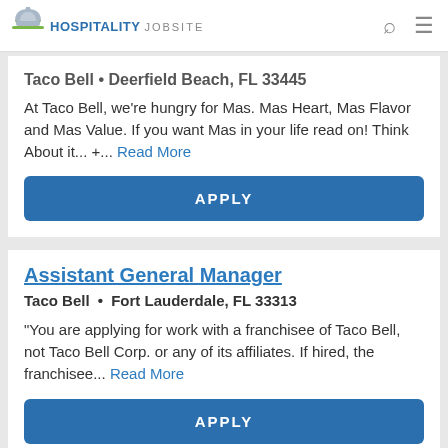HOSPITALITY JOBSITE
Taco Bell • Deerfield Beach, FL 33443
At Taco Bell, we're hungry for Mas. Mas Heart, Mas Flavor and Mas Value. If you want Mas in your life read on! Think About it... +... Read More
APPLY
Assistant General Manager
Taco Bell • Fort Lauderdale, FL 33313
"You are applying for work with a franchisee of Taco Bell, not Taco Bell Corp. or any of its affiliates. If hired, the franchisee... Read More
APPLY